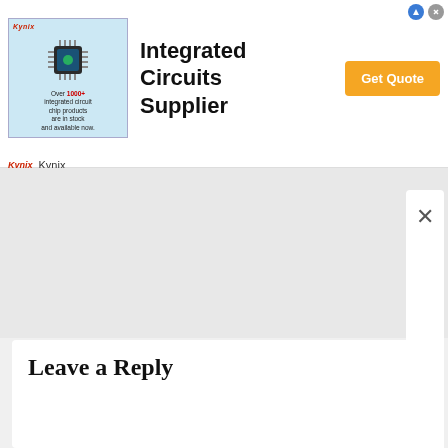[Figure (other): Kynix Integrated Circuits Supplier advertisement banner with chip image, 'Over 1000+ integrated circuit chip products are in stock and available now.' text, and orange 'Get Quote' button]
Leave a Reply